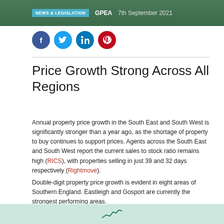NEWS & LEGISLATION   GPEA   7th September 2021
[Figure (other): Social media share icons: Facebook (blue), Twitter (light blue), LinkedIn (blue), Pinterest (red)]
Price Growth Strong Across All Regions
Annual property price growth in the South East and South West is significantly stronger than a year ago, as the shortage of property to buy continues to support prices. Agents across the South East and South West report the current sales to stock ratio remains high (RICS), with properties selling in just 39 and 32 days respectively (Rightmove).
Double-digit property price growth is evident in eight areas of Southern England. Eastleigh and Gosport are currently the strongest performing areas.
[Figure (other): Partial chart visible at bottom of page on light green background]